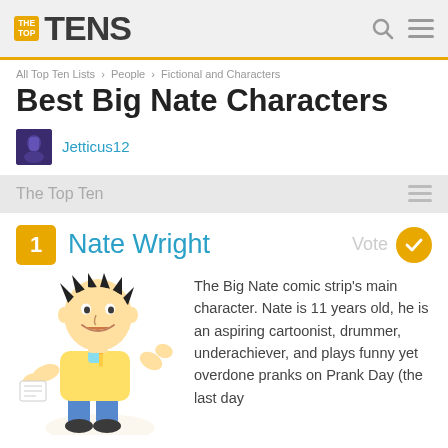TheTopTens
All Top Ten Lists › People › Fictional and Characters
Best Big Nate Characters
Jetticus12
The Top Ten
1 Nate Wright  Vote
[Figure (illustration): Cartoon drawing of Nate Wright, the Big Nate comic strip character, a young boy with spiky black hair holding a pencil and drawing.]
The Big Nate comic strip's main character. Nate is 11 years old, he is an aspiring cartoonist, drummer, underachiever, and plays funny yet overdone pranks on Prank Day (the last day